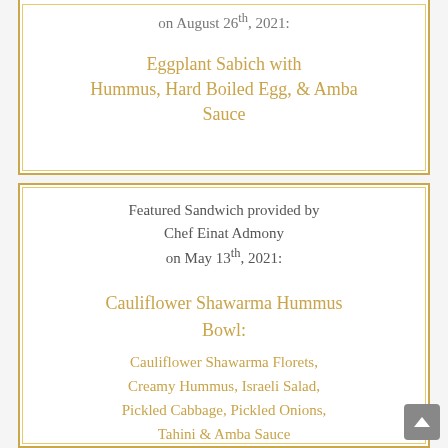on August 26th, 2021:
Eggplant Sabich with Hummus, Hard Boiled Egg, & Amba Sauce
Featured Sandwich provided by Chef Einat Admony on May 13th, 2021:
Cauliflower Shawarma Hummus Bowl:
Cauliflower Shawarma Florets, Creamy Hummus, Israeli Salad, Pickled Cabbage, Pickled Onions, Tahini & Amba Sauce